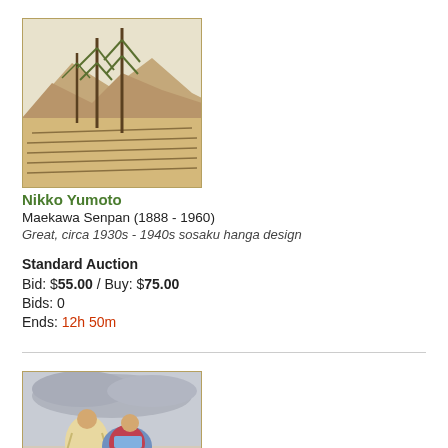[Figure (illustration): Japanese woodblock print thumbnail showing a procession with tall pine trees and a crowd, with mountains in background. Bordered with olive/gold frame.]
Nikko Yumoto
Maekawa Senpan (1888 - 1960)
Great, circa 1930s - 1940s sosaku hanga design
Standard Auction
Bid: $55.00 / Buy: $75.00
Bids: 0
Ends: 12h 50m
[Figure (illustration): Japanese woodblock print thumbnail showing two figures in traditional robes seated, with grey cloudy background. Bordered with olive/gold frame.]